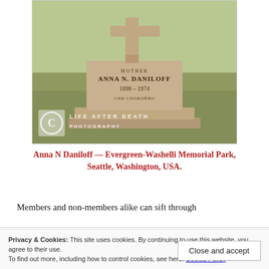[Figure (photo): A gravestone photo at Evergreen-Washelli Memorial Park showing a cross monument and headstone inscribed: MOTHER / ANNA N. DANILOFF / 1898 – 1974 / СПИ СПОКОЙНО. Watermark reads LIFE AFTER DEATH PHOTOGRAPHY with a copyright circle symbol.]
Anna N Daniloff — Evergreen-Washelli Memorial Park, Seattle, Washington, USA.
Members and non-members alike can sift through
Privacy & Cookies: This site uses cookies. By continuing to use this website, you agree to their use.
To find out more, including how to control cookies, see here: Cookie Policy
Close and accept